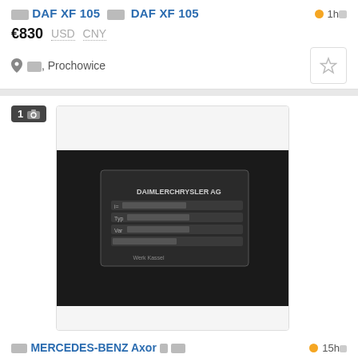□□ DAF XF 105 □□ DAF XF 105
1h□
€830 USD CNY
□□, Prochowice
[Figure (photo): Photo of a DaimlerChrysler AG metal identification plate/tag on dark machinery]
□□ MERCEDES-BENZ Axor □ □□
15h□
□□□□□□□□□
□□□, Vicenza, Thiene